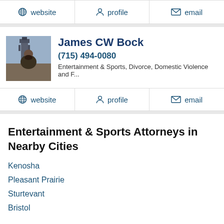website  profile  email
James CW Bock
(715) 494-0080
Entertainment & Sports, Divorce, Domestic Violence and F...
website  profile  email
Entertainment & Sports Attorneys in Nearby Cities
Kenosha
Pleasant Prairie
Sturtevant
Bristol